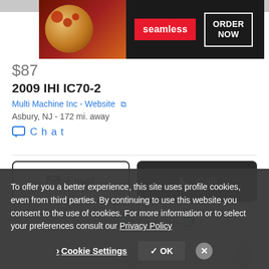[Figure (screenshot): Seamless food delivery advertisement banner with pizza image, red Seamless logo, and ORDER NOW button in white border]
$87
2009 IHI IC70-2
Multi Machine Inc - Website
Asbury, NJ - 172 mi. away
Chat
Email
Call
Video chat with this dealer
To offer you a better experience, this site uses profile cookies, even from third parties. By continuing to use this website you consent to the use of cookies. For more information or to select your preferences consult our Privacy Policy
Cookie Settings
OK